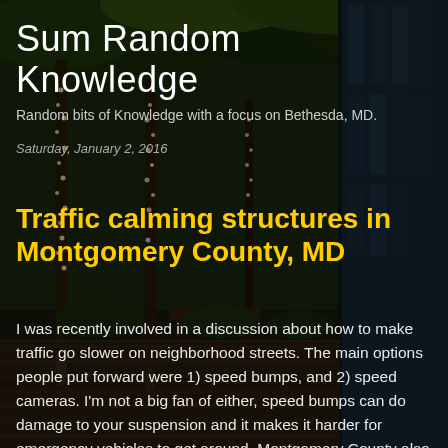[Figure (photo): Nighttime street scene with trees decorated with white fairy lights, benches along a pedestrian walkway, and a glass building facade on the right. Dark atmospheric urban environment.]
Sum Random Knowledge
Random bits of Knowledge with a focus on Bethesda, MD.
Saturday, January 2, 2016
Traffic calming structures in Montgomery County, MD
I was recently involved in a discussion about how to make traffic go slower on neighborhood streets.  The main options people put forward were 1) speed bumps, and 2) speed cameras.  I'm not a big fan of either, speed bumps can do damage to your suspension and it makes it harder for emergency vehicles to get around.  Montgomery County also has limits on where and when speed cameras can operate